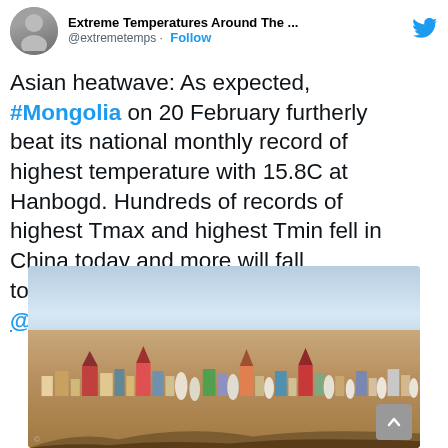Extreme Temperatures Around The ... @extremetemps · Follow
Asian heatwave: As expected, #Mongolia on 20 February furtherly beat its national monthly record of highest temperature with 15.8C at Hanbogd. Hundreds of records of highest Tmax and highest Tmin fell in China today and more will fall tomorrow.  @climateguyw @ScottDuncanWX
[Figure (photo): Aerial view of a Mongolian town/settlement with traditional ger (yurt) structures and colourful buildings spread across a dry steppe landscape under a hazy sky.]